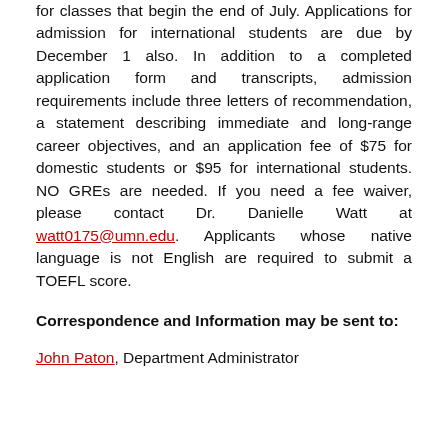for classes that begin the end of July. Applications for admission for international students are due by December 1 also. In addition to a completed application form and transcripts, admission requirements include three letters of recommendation, a statement describing immediate and long-range career objectives, and an application fee of $75 for domestic students or $95 for international students. NO GREs are needed. If you need a fee waiver, please contact Dr. Danielle Watt at watt0175@umn.edu. Applicants whose native language is not English are required to submit a TOEFL score.
Correspondence and Information may be sent to:
John Paton, Department Administrator